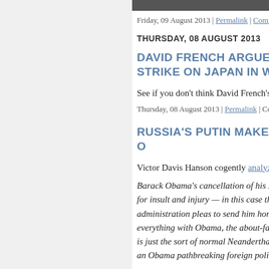Friday, 09 August 2013 | Permalink | Comments (1)
THURSDAY, 08 AUGUST 2013
DAVID FRENCH ARGUES THE MORAL CASE FOR THE ATOMIC STRIKE ON JAPAN IN WW2
See if you don't think David French's historical
Thursday, 08 August 2013 | Permalink | Comments (
RUSSIA'S PUTIN MAKES SPORT OF O
Victor Davis Hanson cogently analyzes Putin
Barack Obama's cancellation of his Russian... for insult and injury — in this case the asyl... administration pleas to send him home for p... everything with Obama, the about-face invol... is just the sort of normal Neanderthal tit-for-... an Obama pathbreaking foreign policy.
He entered office chastising the Bush admi... Iranians and Syrians. The subtext was the...